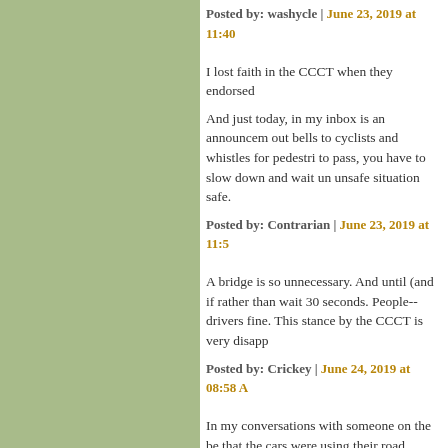Posted by: washycle | June 23, 2019 at 11:40
I lost faith in the CCCT when they endorsed...
And just today, in my inbox is an announcement out bells to cyclists and whistles for pedestri to pass, you have to slow down and wait un unsafe situation safe.
Posted by: Contrarian | June 23, 2019 at 11:5
A bridge is so unnecessary. And until (and if rather than wait 30 seconds. People--drivers fine. This stance by the CCCT is very disapp
Posted by: Crickey | June 24, 2019 at 08:58 A
In my conversations with someone on the be that the cars were using their road instead. The bridge isn't needed. And Little Falls road from River rd going wes Arlington RD is already slated to be turned i Ever road that connects to Little Falls Parkw I hope WABA and Mongtomery County can
Posted by: Brett Young | June 24, 2019 at 12:
John's assessment of likely behaviors in res